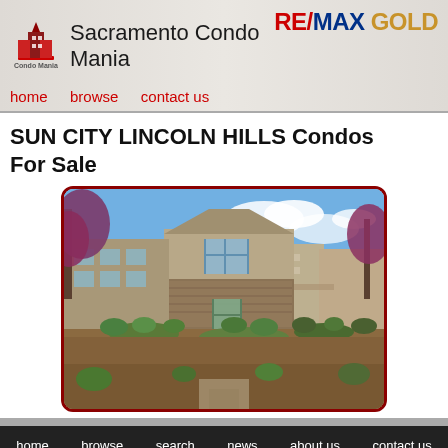Sacramento Condo Mania
[Figure (logo): RE/MAX GOLD logo in top right corner]
home   browse   contact us
SUN CITY LINCOLN HILLS Condos For Sale
[Figure (photo): Exterior photo of Sun City Lincoln Hills condo buildings with landscaping, trees with purple/red foliage, stone and stucco construction, blue sky background]
home   browse   search   news   about us   contact us